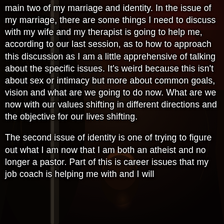main two of my marriage and identity.  In the issue of my marriage, there are some things I need to discuss with my wife and my therapist is going to help me, according to our last session, as to how to approach this discussion as I am a little apprehensive of talking about the specific issues.  It's weird because this isn't about sex or intimacy but more about common goals, vision and what are we going to do now. What are we now with our values shifting in different directions and the objective for our lives shifting.
The second issue of identity is one of trying to figure out what I am now that I am both an atheist and no longer a pastor.  Part of this is career issues that my job coach is helping me with and I will